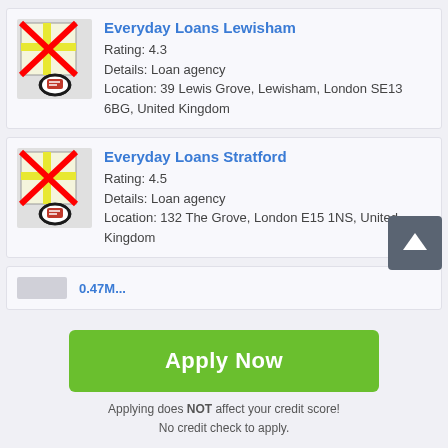[Figure (screenshot): Map icon with red X overlay for Everyday Loans Lewisham listing]
Everyday Loans Lewisham
Rating: 4.3
Details: Loan agency
Location: 39 Lewis Grove, Lewisham, London SE13 6BG, United Kingdom
[Figure (screenshot): Map icon with red X overlay for Everyday Loans Stratford listing]
Everyday Loans Stratford
Rating: 4.5
Details: Loan agency
Location: 132 The Grove, London E15 1NS, United Kingdom
[Figure (screenshot): Partial third listing - truncated]
Apply Now
Applying does NOT affect your credit score!
No credit check to apply.